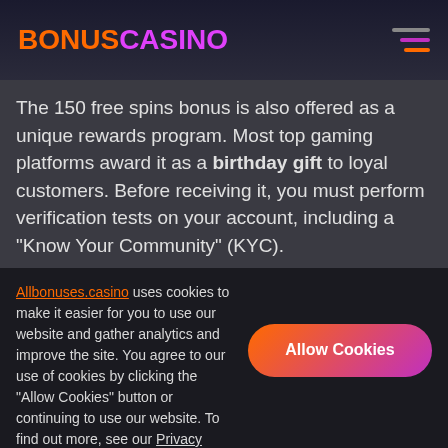BONUSCASINO
The 150 free spins bonus is also offered as a unique rewards program. Most top gaming platforms award it as a birthday gift to loyal customers. Before receiving it, you must perform verification tests on your account, including a "Know Your Community" (KYC).
However, there are restrictions regarding this fantastic offer. The offer is not open to all types of slot games you will find at online casinos. You can play them on pre-chosen slot games chosen by the casino. Standard online slot machines you can see this bonus package
Allbonuses.casino uses cookies to make it easier for you to use our website and gather analytics and improve the site. You agree to our use of cookies by clicking the "Allow Cookies" button or continuing to use our website. To find out more, see our Privacy Policy.